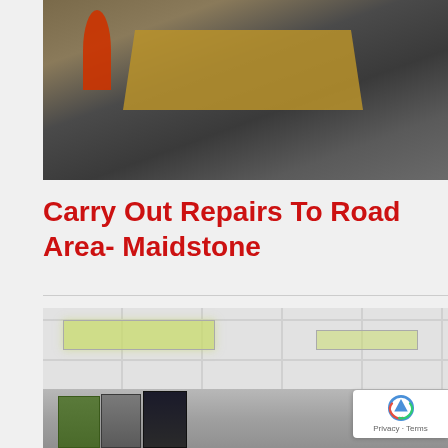[Figure (photo): Construction site photo showing a wooden trestle/barrier on dark tarmac surface, with an orange traffic cone visible on the left side.]
Carry Out Repairs To Road Area- Maidstone
[Figure (photo): Interior office/canteen photo showing suspended ceiling with fluorescent lighting panels and vending machines along the bottom.]